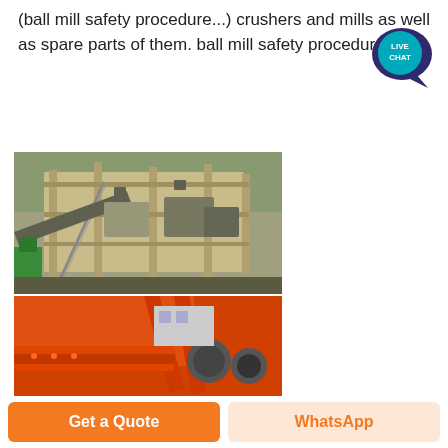(ball mill safety procedure...) crushers and mills as well as spare parts of them. ball mill safety procedure.
[Figure (photo): Industrial crushing/milling plant machinery with steel structure, conveyors, and a green crane visible in foreground]
[Figure (photo): Orange industrial ball mill or crusher equipment with orange frame and machinery parts]
Get a Quote
WhatsApp